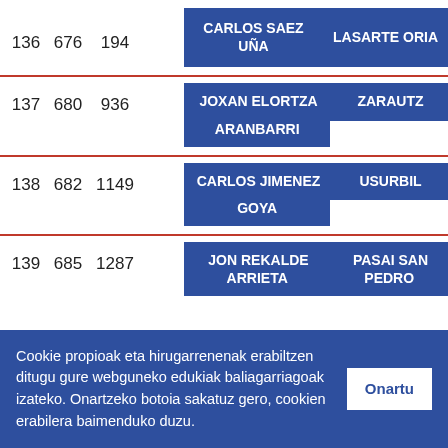| # | Col2 | Col3 | Name | Place |
| --- | --- | --- | --- | --- |
| 136 | 676 | 194 | CARLOS SAEZ UÑA | LASARTE ORIA |
| 137 | 680 | 936 | JOXAN ELORTZA ARANBARRI | ZARAUTZ |
| 138 | 682 | 1149 | CARLOS JIMENEZ GOYA | USURBIL |
| 139 | 685 | 1287 | JON REKALDE ARRIETA | PASAI SAN PEDRO |
Cookie propioak eta hirugarrenenak erabiltzen ditugu gure webguneko edukiak baliagarriagoak izateko. Onartzeko botoia sakatuz gero, cookien erabilera baimenduko duzu.
Onartu